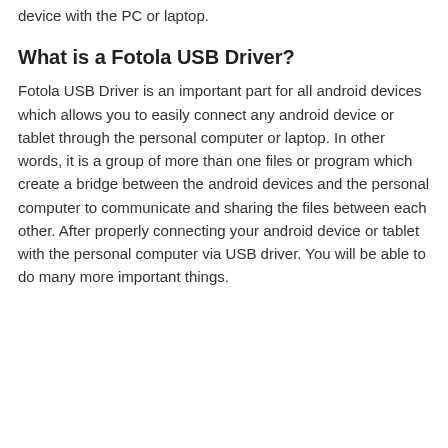device with the PC or laptop.
What is a Fotola USB Driver?
Fotola USB Driver is an important part for all android devices which allows you to easily connect any android device or tablet through the personal computer or laptop. In other words, it is a group of more than one files or program which create a bridge between the android devices and the personal computer to communicate and sharing the files between each other. After properly connecting your android device or tablet with the personal computer via USB driver. You will be able to do many more important things.